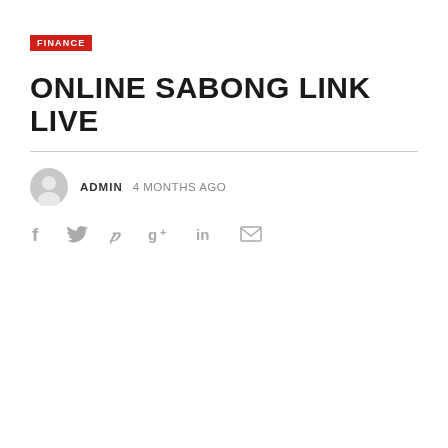FINANCE
ONLINE SABONG LINK LIVE
ADMIN  4 MONTHS AGO
[Figure (infographic): Social media sharing icons row: Facebook (f), Twitter (bird), Pinterest (P), Google+ (g+), LinkedIn (in), Email (envelope)]